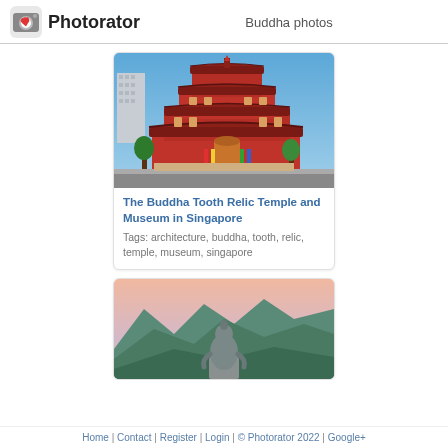Photorator — Buddha photos
Buddha photos
[Figure (photo): Photo of the Buddha Tooth Relic Temple and Museum in Singapore — a large red multi-tiered Chinese Buddhist temple against a blue sky with trees and flags in the foreground]
The Buddha Tooth Relic Temple and Museum in Singapore
Tags: architecture, buddha, tooth, relic, temple, museum, singapore
[Figure (photo): Photo of a large seated Buddha statue from behind, surrounded by green mountains under a pinkish sky]
Home | Contact | Register | Login | © Photorator 2022 | Google+